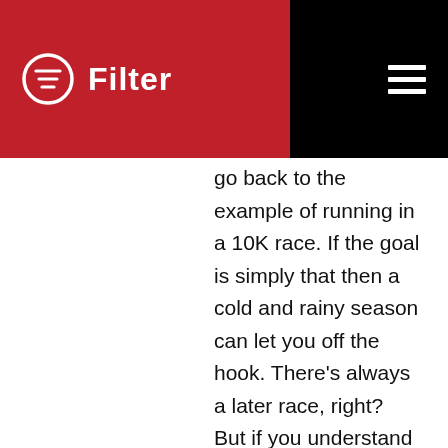[Figure (logo): Filter app header with red panel containing Filter logo (circle with lines icon and 'Filter' text) and black panel with hamburger menu icon]
go back to the example of running in a 10K race. If the goal is simply that then a cold and rainy season can let you off the hook. There’s always a later race, right? But if you understand your “why” (eg: I want to run a 10K in April because every step I take in exercise makes me more healthy and helps ensure I’ll be able to enjoy a high quality of life with my kids someday) then you become much less